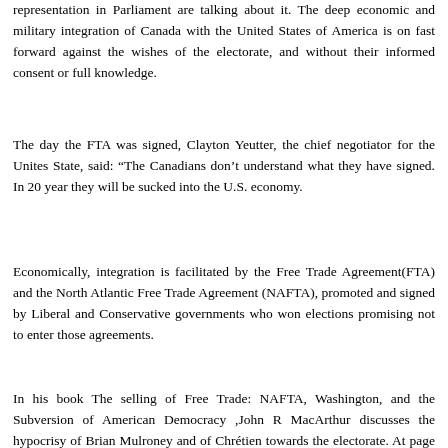representation in Parliament are talking about it. The deep economic and military integration of Canada with the United States of America is on fast forward against the wishes of the electorate, and without their informed consent or full knowledge.
The day the FTA was signed, Clayton Yeutter, the chief negotiator for the Unites State, said: “The Canadians don’t understand what they have signed. In 20 year they will be sucked into the U.S. economy.
Economically, integration is facilitated by the Free Trade Agreement(FTA) and the North Atlantic Free Trade Agreement (NAFTA), promoted and signed by Liberal and Conservative governments who won elections promising not to enter those agreements.
In his book The selling of Free Trade: NAFTA, Washington, and the Subversion of American Democracy ,John R MacArthur discusses the hypocrisy of Brian Mulroney and of Chrétien towards the electorate. At page 267 he writes,“The Liberal party had taken a highly critical position against NAFTA during the election campaign, denouncing